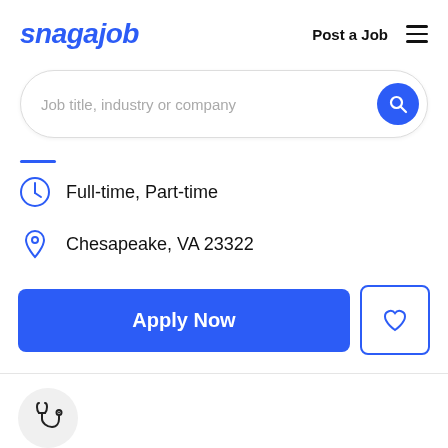snagajob | Post a Job
[Figure (screenshot): Search bar with placeholder text 'Job title, industry or company' and a blue circular search button on the right]
Full-time, Part-time
Chesapeake, VA 23322
[Figure (other): Apply Now button (blue) and a heart/save button (outlined with blue border)]
[Figure (other): Stethoscope icon in a light gray circle representing healthcare/medical category]